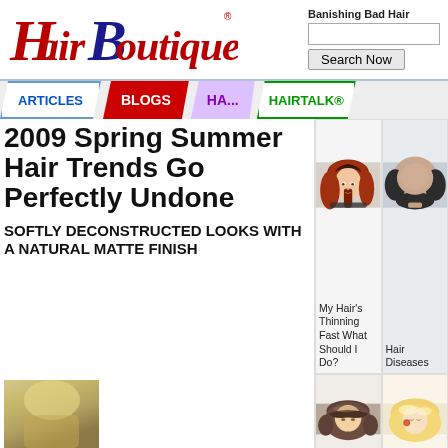[Figure (logo): HairBoutique.com logo in red and dark blue italic serif font with registered trademark symbol]
Banishing Bad Hair
[Figure (screenshot): Search box input field]
Search Now
ARTICLES
BLOGS
HA...
HAIRTALK®
2009 Spring Summer Hair Trends Go Perfectly Undone
SOFTLY DECONSTRUCTED LOOKS WITH A NATURAL MATTE FINISH
[Figure (photo): Young woman with long red/auburn hair styled to the side]
My Hair's Thinning Fast What Should I Do?
[Figure (photo): Back of head showing hair loss/baldness]
Hair Diseases
[Figure (photo): Woman with brown bob hairstyle]
[Figure (photo): Blonde woman with decorative hair accessory]
[Figure (photo): Small thumbnail of blonde person at bottom left]